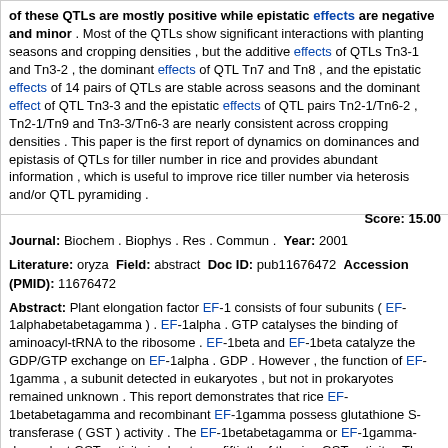of these QTLs are mostly positive while epistatic effects are negative and minor . Most of the QTLs show significant interactions with planting seasons and cropping densities , but the additive effects of QTLs Tn3-1 and Tn3-2 , the dominant effects of QTL Tn7 and Tn8 , and the epistatic effects of 14 pairs of QTLs are stable across seasons and the dominant effect of QTL Tn3-3 and the epistatic effects of QTL pairs Tn2-1/Tn6-2 , Tn2-1/Tn9 and Tn3-3/Tn6-3 are nearly consistent across cropping densities . This paper is the first report of dynamics on dominances and epistasis of QTLs for tiller number in rice and provides abundant information , which is useful to improve rice tiller number via heterosis and/or QTL pyramiding .
Score: 15.00
Journal: Biochem . Biophys . Res . Commun . Year: 2001
Literature: oryza Field: abstract Doc ID: pub11676472 Accession (PMID): 11676472
Abstract: Plant elongation factor EF-1 consists of four subunits ( EF-1alphabetabetagamma ) . EF-1alpha . GTP catalyses the binding of aminoacyl-tRNA to the ribosome . EF-1beta and EF-1beta catalyze the GDP/GTP exchange on EF-1alpha . GDP . However , the function of EF-1gamma , a subunit detected in eukaryotes , but not in prokaryotes remained unknown . This report demonstrates that rice EF-1betabetagamma and recombinant EF-1gamma possess glutathione S-transferase ( GST ) activity . The EF-1betabetagamma or EF-1gamma-dependent GST activity is about one-fiftieth of the rice GST activity . The Km values of EF-1betabetagamma , EF-1gamma , and rice GST for glutathione and 1-chloro-2 , 4-dinitrobenzene are of about the same order . Although recombinant EF-1gamma is heat labile , active EF-1gamma was obtained by purifying it in the presence of 20% glycerol .